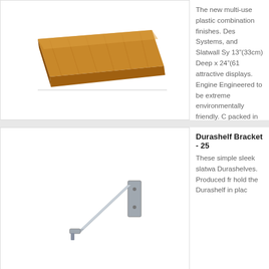[Figure (photo): Wooden shelf board with light wood grain finish, viewed at an angle showing the edge.]
The new multi-use plastic combination finishes. Designed for Systems, and Slatwall Systems. 13"(33cm) Deep x 24"(61 attractive displays. Engineered to be extremely environmentally friendly. Packed in 4's. ...
[Figure (photo): Metal slatwall bracket/shelf support arm, silver/grey finish, angled view.]
Durashelf Bracket - 25
These simple sleek slatwall Durashelves. Produced from hold the Durashelf in place...